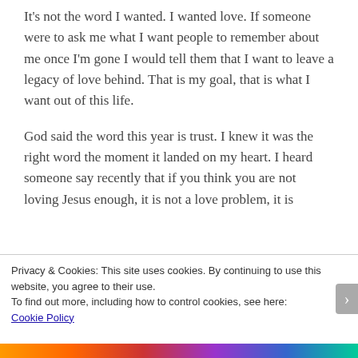It's not the word I wanted. I wanted love. If someone were to ask me what I want people to remember about me once I'm gone I would tell them that I want to leave a legacy of love behind. That is my goal, that is what I want out of this life.
God said the word this year is trust. I knew it was the right word the moment it landed on my heart. I heard someone say recently that if you think you are not loving Jesus enough, it is not a love problem, it is
Privacy & Cookies: This site uses cookies. By continuing to use this website, you agree to their use.
To find out more, including how to control cookies, see here:
Cookie Policy
Close and accept